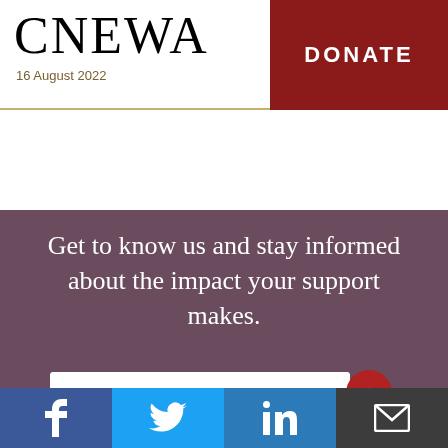CNEWA
16 August 2022
DONATE
Get to know us and stay informed about the impact your support makes.
EMAIL
SUBMIT